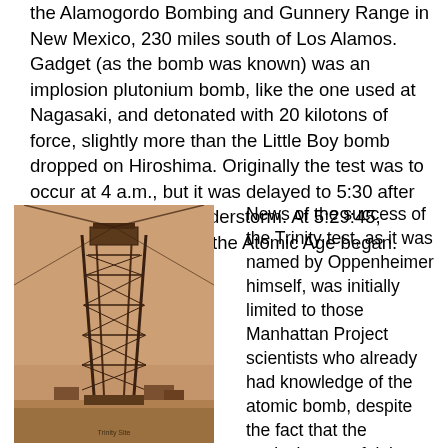the Alamogordo Bombing and Gunnery Range in New Mexico, 230 miles south of Los Alamos. Gadget (as the bomb was known) was an implosion plutonium bomb, like the one used at Nagasaki, and detonated with 20 kilotons of force, slightly more than the Little Boy bomb dropped on Hiroshima. Originally the test was to occur at 4 a.m., but it was delayed to 5:30 after an early morning thunderstorm. At 5:29:45, Gadget exploded and the Atomic Age began.
[Figure (photo): Sepia-toned historical photograph of the Trinity test tower, a tall metal lattice structure standing in the desert. Cables extend from the top. Small buildings visible at the base.]
News of the success of the Trinity test, as it was named by Oppenheimer himself, was initially limited to those Manhattan Project scientists who already had knowledge of the atomic bomb, despite the fact that the explosion was felt in cities throughout the state. Officially, the cause was reported as the accidental detonation of a bunker containing a number of